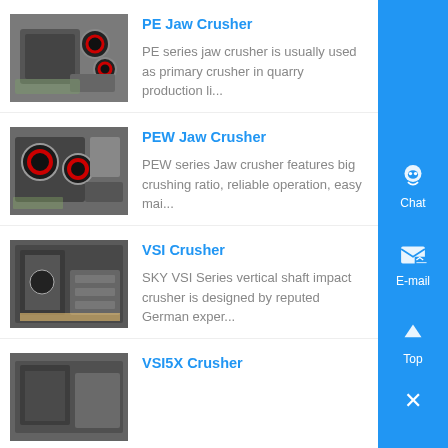[Figure (photo): PE Jaw Crusher machine photo]
PE Jaw Crusher
PE series jaw crusher is usually used as primary crusher in quarry production li...
[Figure (photo): PEW Jaw Crusher machine photo]
PEW Jaw Crusher
PEW series Jaw crusher features big crushing ratio, reliable operation, easy mai...
[Figure (photo): VSI Crusher machine photo]
VSI Crusher
SKY VSI Series vertical shaft impact crusher is designed by reputed German exper...
[Figure (photo): VSI5X Crusher machine photo]
VSI5X Crusher